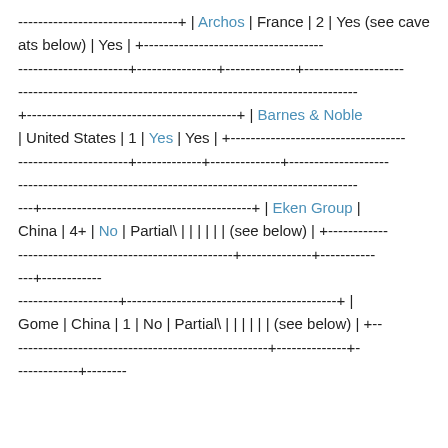--------------------------------+ | Archos | France | 2 | Yes (see caveats below) | Yes | +------------------------------------ ----------------------+----------------+--------------+-------------------- -------------------------------------------------------------------- +------------------------------------------+ | Barnes & Noble | United States | 1 | Yes | Yes | +----------------------------------- ----------------------+-------------+--------------+-------------------- -------------------------------------------------------------------- ---+------------------------------------------+ | Eken Group | China | 4+ | No | Partial\ | | | | | | (see below) | +------------ -------------------------------------------+--------------+----------- ---+------------ --------------------+------------------------------------------+ | Gome | China | 1 | No | Partial\ | | | | | | (see below) | +-- --------------------------------------------------+--------------+- ------------+--------